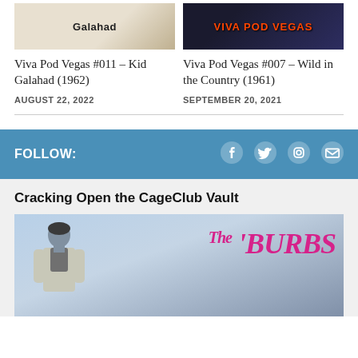[Figure (photo): Thumbnail image for Kid Galahad (1962) podcast episode]
Viva Pod Vegas #011 – Kid Galahad (1962)
AUGUST 22, 2022
[Figure (photo): Thumbnail image for Wild in the Country (1961) podcast episode with Viva Pod Vegas logo]
Viva Pod Vegas #007 – Wild in the Country (1961)
SEPTEMBER 20, 2021
FOLLOW:
[Figure (illustration): Social media icons: Facebook, Twitter, Instagram, Email]
Cracking Open the CageClub Vault
[Figure (photo): Movie poster for The 'Burbs featuring a young man in a light jacket with The 'Burbs logo in pink on a cloudy sky background]